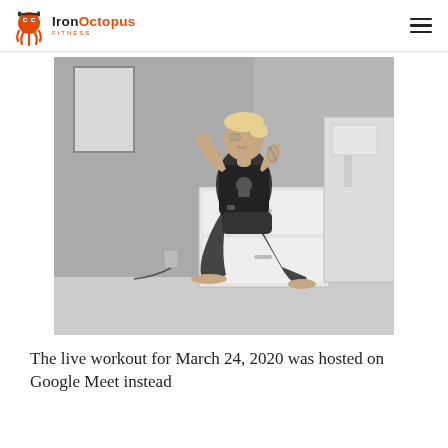IronOctopus FITNESS
[Figure (photo): Black and white photo of a woman performing a lunge exercise in a home setting, wearing a black sleeveless shirt and shorts, with a dresser and closet visible in the background.]
The live workout for March 24, 2020 was hosted on Google Meet instead